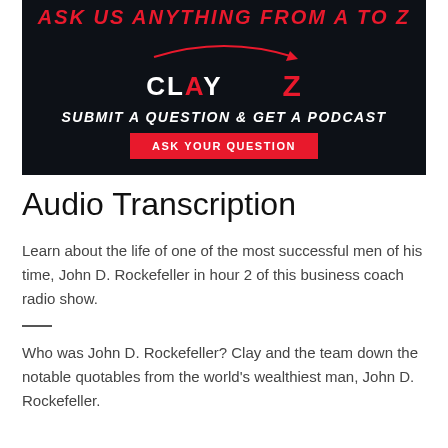[Figure (infographic): Dark navy banner advertisement with red italic text 'ASK US ANYTHING FROM A TO Z' at top, curved red arrow, 'CLAY' and 'Z' names in white and red, subtitle 'SUBMIT A QUESTION & GET A PODCAST', and red button 'ASK YOUR QUESTION']
Audio Transcription
Learn about the life of one of the most successful men of his time, John D. Rockefeller in hour 2 of this business coach radio show.
Who was John D. Rockefeller? Clay and the team down the notable quotables from the world's wealthiest man, John D. Rockefeller.